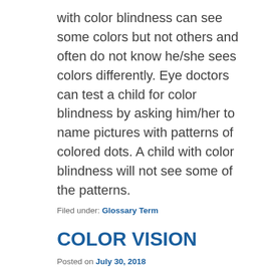with color blindness can see some colors but not others and often do not know he/she sees colors differently. Eye doctors can test a child for color blindness by asking him/her to name pictures with patterns of colored dots. A child with color blindness will not see some of the patterns.
Filed under: Glossary Term
COLOR VISION
Posted on July 30, 2018
By eol_zadmin
The ability to see all colors.
Filed under: Glossary Term